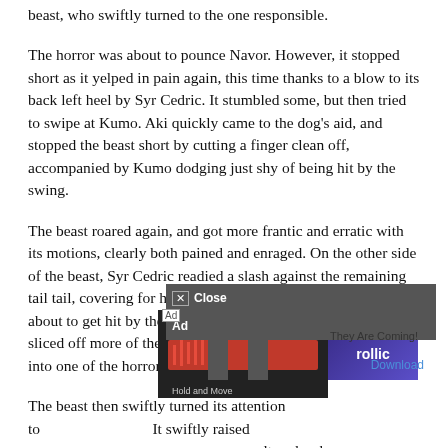beast, who swiftly turned to the one responsible.
The horror was about to pounce Navor. However, it stopped short as it yelped in pain again, this time thanks to a blow to its back left heel by Syr Cedric. It stumbled some, but then tried to swipe at Kumo. Aki quickly came to the dog's aid, and stopped the beast short by cutting a finger clean off, accompanied by Kumo dodging just shy of being hit by the swing.
The beast roared again, and got more frantic and erratic with its motions, clearly both pained and enraged. On the other side of the beast, Syr Cedric readied a slash against the remaining tail tail, covering for his squire who was alongside him and about to get hit by the partially-hacked-off appendage. As he sliced off more of the beast's tail, the squire got a decent gash into one of the horror's heels.
The beast then swiftly turned its attention to [Ad overlay]. It swiftly raised a [Ad] [They Are Coming! rollic] ltered as he lo [Download] tack. The spririt-knight braced for the blow, but his squire swiftly